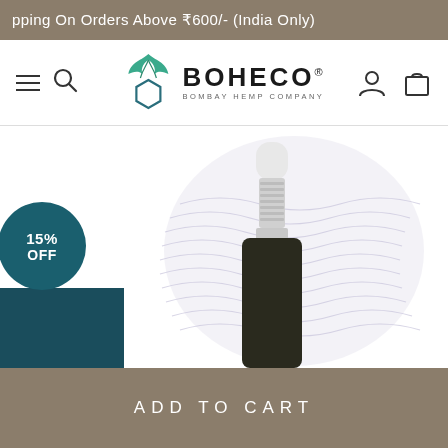pping On Orders Above ₹600/- (India Only)
[Figure (logo): BOHECO Bombay Hemp Company logo with green leaf and hexagon icon]
[Figure (photo): Hemp oil dropper bottle product with wavy decorative background, 15% OFF badge, dark teal discount label]
ADD TO CART